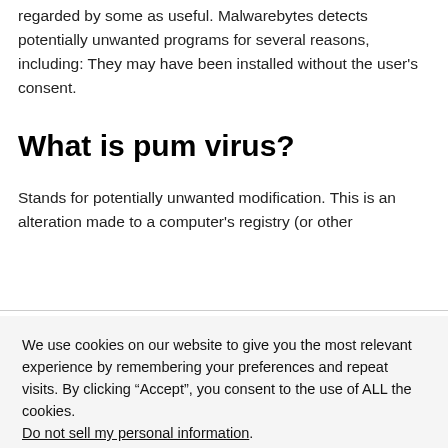regarded by some as useful. Malwarebytes detects potentially unwanted programs for several reasons, including: They may have been installed without the user's consent.
What is pum virus?
Stands for potentially unwanted modification. This is an alteration made to a computer's registry (or other
We use cookies on our website to give you the most relevant experience by remembering your preferences and repeat visits. By clicking “Accept”, you consent to the use of ALL the cookies. Do not sell my personal information.
Cookie Settings
Accept